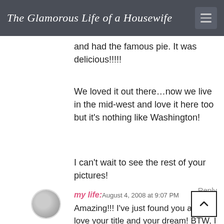The Glamorous Life of a Housewife
and had the famous pie. It was delicious!!!!!
We loved it out there…now we live in the mid-west and love it here too but it's nothing like Washington!
I can't wait to see the rest of your pictures!
my life: August 4, 2008 at 9:07 PM
Amazing!!! I've just found you and…I love your title and your dream! BTW, I love the cherry pics. I'll be reading more….
Anonymous August 4, 2008 at 9:15